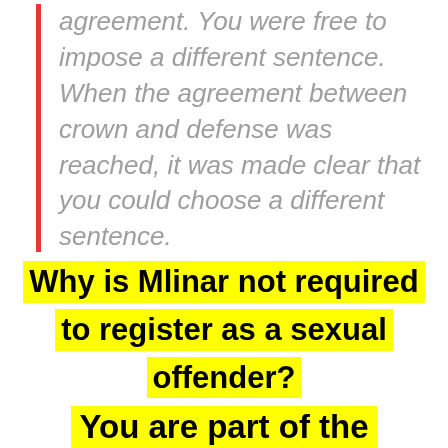agreement. You were free to impose a different sentence. When the agreement between crown and defense was reached, it was made clear that you could choose a different sentence.
Why is Mlinar not required to register as a sexual offender?
You are part of the